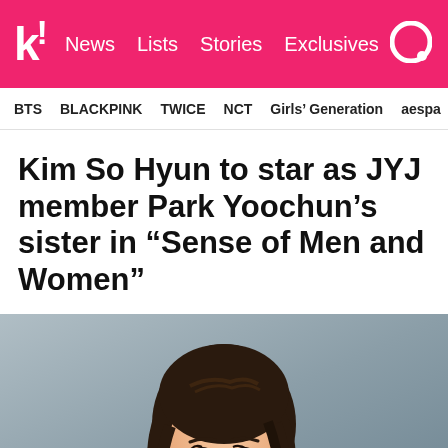k! News Lists Stories Exclusives
BTS BLACKPINK TWICE NCT Girls' Generation aespa
Kim So Hyun to star as JYJ member Park Yoochun's sister in “Sense of Men and Women”
[Figure (photo): Portrait photo of Kim So Hyun, a young Korean actress with long dark hair, a braid detail, looking slightly to the side against a gray background.]